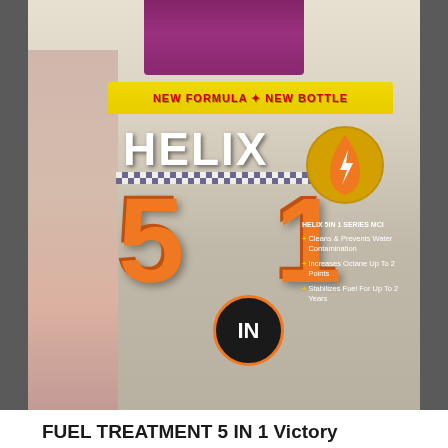[Figure (photo): Close-up photo of a Helix 5-in-1 fuel treatment bottle for Victory Motorcycles. The bottle has a purple/maroon cap at the top, a translucent body showing red/pink liquid, and a blue label with yellow banner reading 'NEW FORMULA + NEW BOTTLE', large white HELIX text, large orange '5' and '1' numerals with a black circle containing 'IN' between them, a drop/lightning bolt logo on the right side of the label, and small bullet text describing product features. Dark grey bars flank the left and right sides of the image.]
FUEL TREATMENT 5 IN 1 Victory Motorcycle
$9.95